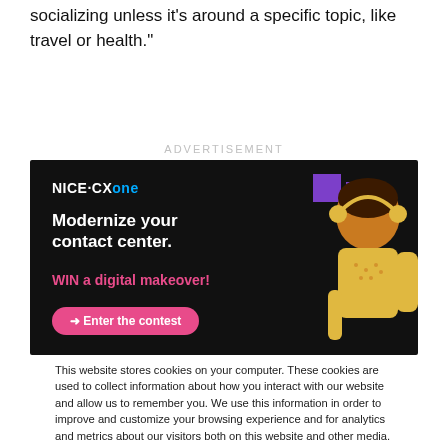socializing unless it's around a specific topic, like travel or health.”
ADVERTISEMENT
[Figure (screenshot): NICE CXone advertisement banner with dark background showing 'Modernize your contact center.' headline, 'WIN a digital makeover!' subheadline in pink, 'Enter the contest' button, purple squares and a person with headphones on the right side.]
This website stores cookies on your computer. These cookies are used to collect information about how you interact with our website and allow us to remember you. We use this information in order to improve and customize your browsing experience and for analytics and metrics about our visitors both on this website and other media. To find out more about the cookies we use, see our Privacy Policy. California residents have the right to direct us not to sell their personal information to third parties by filing an Opt-Out Request: Do Not Sell My Personal Info.